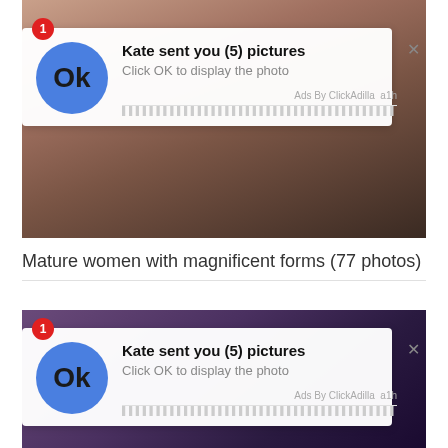[Figure (screenshot): Censored adult image with 'Kate sent you (5) pictures' notification overlay, blue circle Ok button, close X, Ads By ClickAdilla a1h attribution]
Mature women with magnificent forms (77 photos)
[Figure (screenshot): Second censored adult image with same 'Kate sent you (5) pictures' notification overlay]